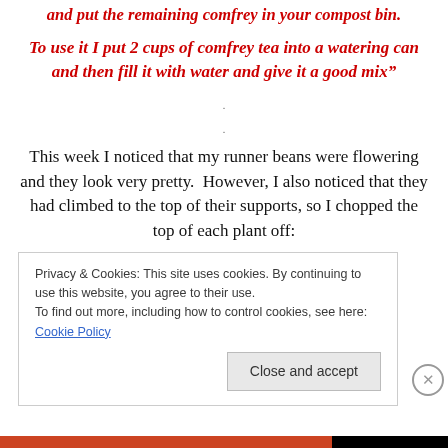and put the remaining comfrey in your compost bin.
To use it I put 2 cups of comfrey tea into a watering can and then fill it with water and give it a good mix"
This week I noticed that my runner beans were flowering and they look very pretty.  However, I also noticed that they had climbed to the top of their supports, so I chopped the top of each plant off:
Privacy & Cookies: This site uses cookies. By continuing to use this website, you agree to their use.
To find out more, including how to control cookies, see here: Cookie Policy
Close and accept